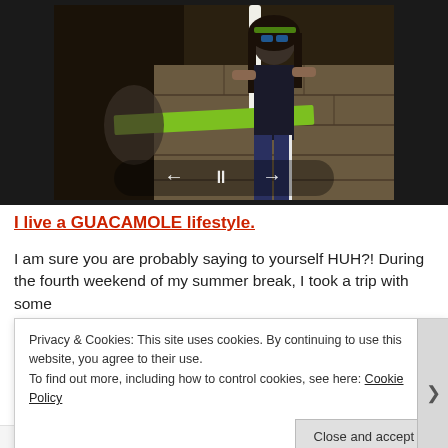[Figure (photo): A person with long dark hair, wearing a green headband and sunglasses, holding a large white candle, standing in front of a stone wall. Another person is visible in the background. A bright green bar/object is visible in front. Navigation controls (back, pause, forward) are shown at the bottom of the slideshow.]
I live a GUACAMOLE lifestyle.
I am sure you are probably saying to yourself HUH?! During the fourth weekend of my summer break, I took a trip with some
Privacy & Cookies: This site uses cookies. By continuing to use this website, you agree to their use.
To find out more, including how to control cookies, see here: Cookie Policy
Close and accept